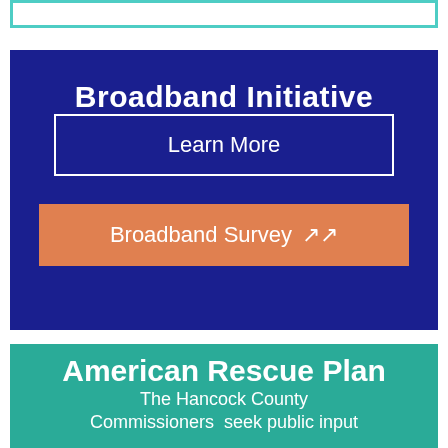[Figure (other): Teal/turquoise outlined rectangle at top of page]
Broadband Initiative
Learn More
Broadband Survey
American Rescue Plan
The Hancock County Commissioners  seek public input regarding utilization of the ARP